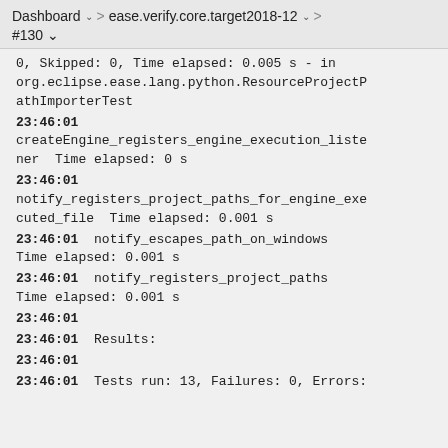Dashboard > ease.verify.core.target2018-12 > #130
0, Skipped: 0, Time elapsed: 0.005 s - in org.eclipse.ease.lang.python.ResourceProjectPathImporterTest
23:46:01 createEngine_registers_engine_execution_listener  Time elapsed: 0 s
23:46:01 notify_registers_project_paths_for_engine_executed_file  Time elapsed: 0.001 s
23:46:01  notify_escapes_path_on_windows Time elapsed: 0.001 s
23:46:01  notify_registers_project_paths Time elapsed: 0.001 s
23:46:01
23:46:01  Results:
23:46:01
23:46:01  Tests run: 13, Failures: 0, Errors: